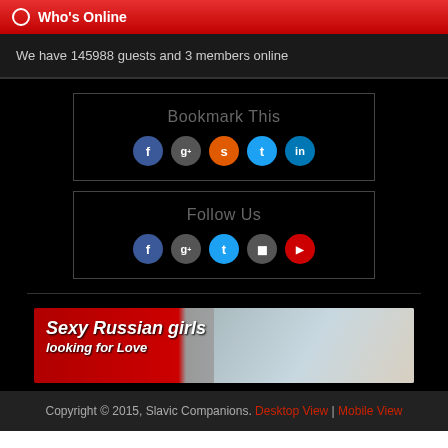Who's Online
We have 145988 guests and 3 members online
[Figure (infographic): Bookmark This box with social media icons: Facebook, Google+, StumbleUpon, Twitter, LinkedIn]
[Figure (infographic): Follow Us box with social media icons: Facebook, Google+, Twitter, Pinterest, YouTube]
[Figure (photo): Advertisement banner: Sexy Russian girls looking for Love, with photo of a woman]
Copyright © 2015, Slavic Companions. Desktop View | Mobile View